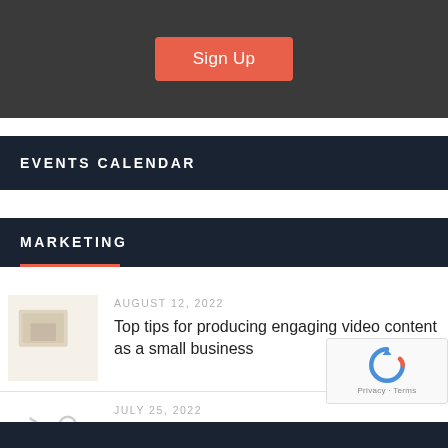[Figure (other): Dark gray bar with a coral/red 'Sign Up' button centered]
EVENTS CALENDAR
MARKETING
[Figure (illustration): Thumbnail image placeholder with light beige background]
AUGUST 12, 2022
Top tips for producing engaging video content as a small business
[Figure (illustration): Stick figure swinging a bat icon, gray outline]
JULY 25, 2022
How to get the most out of your marketing during a recession